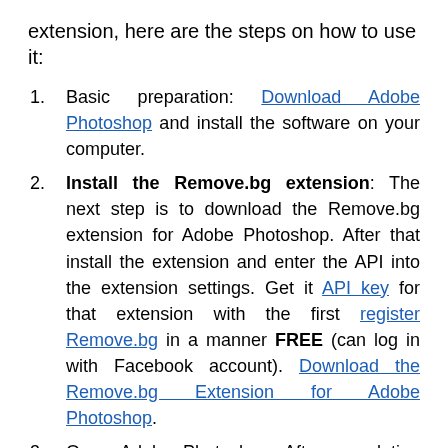extension, here are the steps on how to use it:
Basic preparation: Download Adobe Photoshop and install the software on your computer.
Install the Remove.bg extension: The next step is to download the Remove.bg extension for Adobe Photoshop. After that install the extension and enter the API into the extension settings. Get it API key for that extension with the first register Remove.bg in a manner FREE (can log in with Facebook account). Download the Remove.bg Extension for Adobe Photoshop.
Open Adobe Photoshop: After completing the install process, then open Photoshop and start the process of removing the photo background with the help of the extension that you installed earlier (see the image below for the steps).
If the background removal process is complete, you can